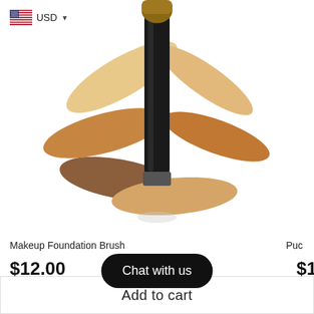[Figure (screenshot): UI element showing US flag icon with USD currency selector and dropdown arrow]
[Figure (photo): A black makeup foundation brush standing upright with several foundation cream swatches in various shades from light to dark around it on a white background]
Makeup Foundation Brush
Puc
$12.00
$1
[Figure (screenshot): Chat with us button - dark rounded pill-shaped button with white text]
Add to cart